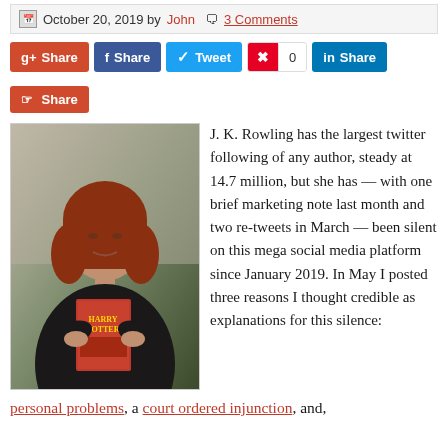October 20, 2019 by John  3 Comments
[Figure (other): Social share buttons: g+ Share, f Share, Tweet, Pinterest 0, in Share, Share]
[Figure (photo): Photo of J. K. Rowling holding a Harry Potter book]
J. K. Rowling has the largest twitter following of any author, steady at 14.7 million, but she has — with one brief marketing note last month and two re-tweets in March — been silent on this mega social media platform since January 2019. In May I posted three reasons I thought credible as explanations for this silence: personal problems, a court ordered injunction, and,